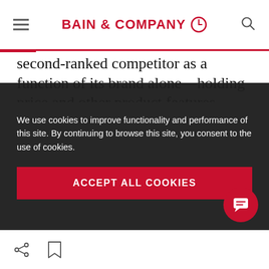BAIN & COMPANY
second-ranked competitor as a function of its brand alone—holding price and other product features equal. Put another way, the leading brand was so strong that the company could double its price and still have a market share equivalent to the second brand. We found a similar dynamic in most other categories, even
We use cookies to improve functionality and performance of this site. By continuing to browse this site, you consent to the use of cookies.
ACCEPT ALL COOKIES